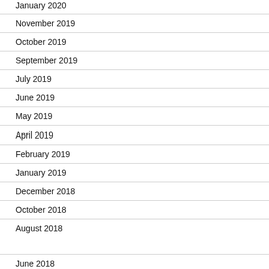January 2020
November 2019
October 2019
September 2019
July 2019
June 2019
May 2019
April 2019
February 2019
January 2019
December 2018
October 2018
August 2018
June 2018